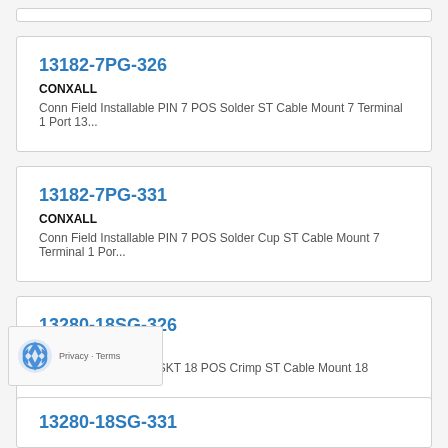13182-7PG-326
CONXALL
Conn Field Installable PIN 7 POS Solder ST Cable Mount 7 Terminal 1 Port 13...
13182-7PG-331
CONXALL
Conn Field Installable PIN 7 POS Solder Cup ST Cable Mount 7 Terminal 1 Por...
13280-18SG-326
CONXALL
Conn Field Installable SKT 18 POS Crimp ST Cable Mount 18 Terminal 1 Port 1...
13280-18SG-331